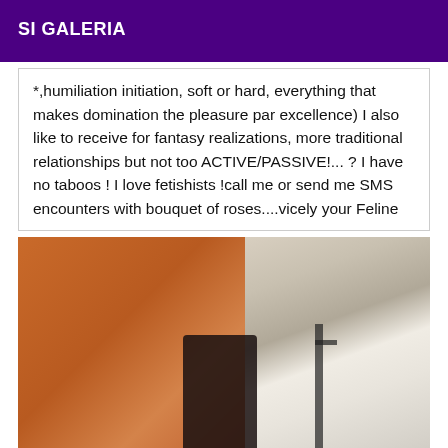SI GALERIA
*,humiliation initiation, soft or hard, everything that makes domination the pleasure par excellence) I also like to receive for fantasy realizations, more traditional relationships but not too ACTIVE/PASSIVE!... ? I have no taboos ! I love fetishists !call me or send me SMS encounters with bouquet of roses....vicely your Feline
[Figure (photo): A close-up photo with warm orange/brown tones, showing a figure against a background with curtains and a dark cross-shaped fixture on the right side.]